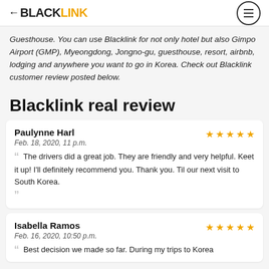BLACKLINK
Guesthouse. You can use Blacklink for not only hotel but also Gimpo Airport (GMP), Myeongdong, Jongno-gu, guesthouse, resort, airbnb, lodging and anywhere you want to go in Korea. Check out Blacklink customer review posted below.
Blacklink real review
Paulynne Harl
Feb. 18, 2020, 11 p.m.
★★★★★
The drivers did a great job. They are friendly and very helpful. Keet it up! I'll definitely recommend you. Thank you. Til our next visit to South Korea.
Isabella Ramos
Feb. 16, 2020, 10:50 p.m.
★★★★★
Best decision we made so far. During my trips to Korea